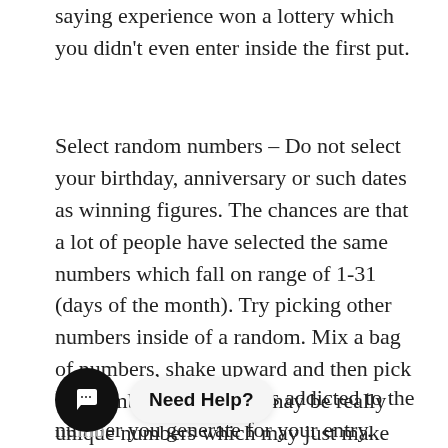saying experience won a lottery which you didn't even enter inside the first put.
Select random numbers – Do not select your birthday, anniversary or such dates as winning figures. The chances are that a lot of people have selected the same numbers which fall on range of 1-31 (days of the month). Try picking other numbers inside of a random. Mix a bag of numbers, shake upward and then pick out numbers. Your pick may be really unique numbers which may just make you the lottery jackpot.
Y...n' ...ry games is addicted to the number you generate for your entry. People today tend to adhere to a pattern with their numbers. They
[Figure (other): Chat widget overlay showing a circular black icon with a chat bubble symbol and a pill-shaped label reading 'Need Help?']